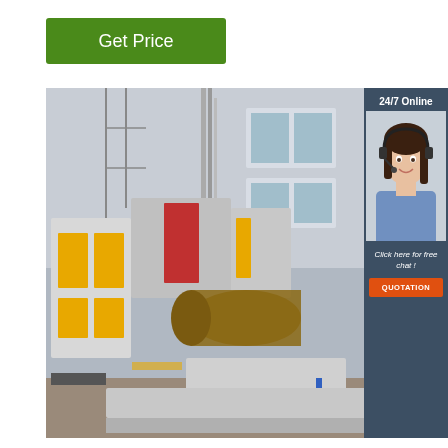Get Price
[Figure (photo): Industrial pipe bending or rolling machine in a factory setting, with yellow and grey components processing a large steel pipe. Building visible in background.]
24/7 Online
[Figure (photo): Female customer service agent wearing a headset, smiling, in a blue shirt.]
Click here for free chat !
QUOTATION